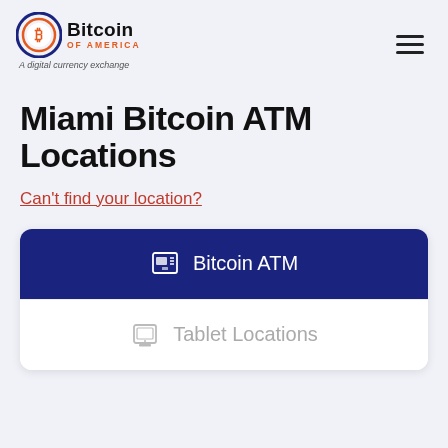[Figure (logo): Bitcoin of America logo with circular orange/blue Bitcoin symbol, bold text 'Bitcoin' with 'OF AMERICA' in orange below, and tagline 'A digital currency exchange']
Miami Bitcoin ATM Locations
Can't find your location?
Bitcoin ATM
Tablet Locations